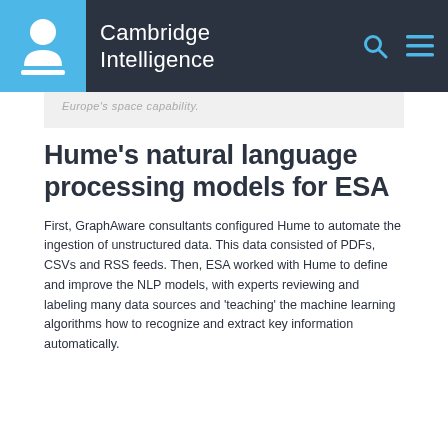Cambridge Intelligence
Europe's space capability.
Hume's natural language processing models for ESA
First, GraphAware consultants configured Hume to automate the ingestion of unstructured data. This data consisted of PDFs, CSVs and RSS feeds. Then, ESA worked with Hume to define and improve the NLP models, with experts reviewing and labeling many data sources and 'teaching' the machine learning algorithms how to recognize and extract key information automatically.